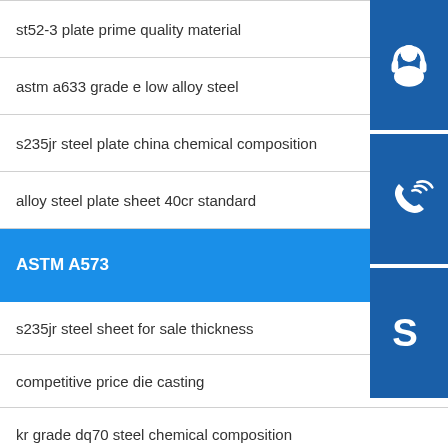st52-3 plate prime quality material
astm a633 grade e low alloy steel
s235jr steel plate china chemical composition
alloy steel plate sheet 40cr standard
ASTM A573
s235jr steel sheet for sale thickness
competitive price die casting
kr grade dq70 steel chemical composition